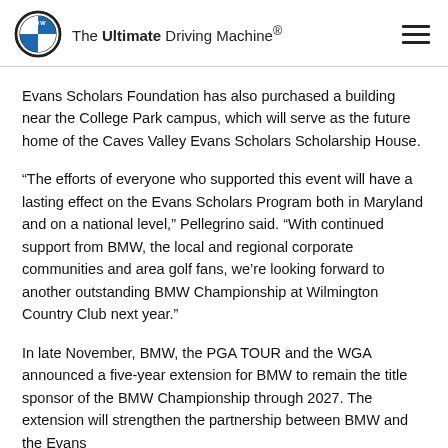The Ultimate Driving Machine®
Evans Scholars Foundation has also purchased a building near the College Park campus, which will serve as the future home of the Caves Valley Evans Scholars Scholarship House.
“The efforts of everyone who supported this event will have a lasting effect on the Evans Scholars Program both in Maryland and on a national level,” Pellegrino said. “With continued support from BMW, the local and regional corporate communities and area golf fans, we’re looking forward to another outstanding BMW Championship at Wilmington Country Club next year.”
In late November, BMW, the PGA TOUR and the WGA announced a five-year extension for BMW to remain the title sponsor of the BMW Championship through 2027. The extension will strengthen the partnership between BMW and the Evans